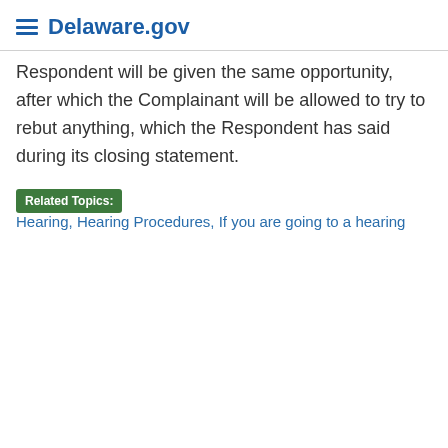Delaware.gov
Respondent will be given the same opportunity, after which the Complainant will be allowed to try to rebut anything, which the Respondent has said during its closing statement.
Related Topics: Hearing, Hearing Procedures, If you are going to a hearing